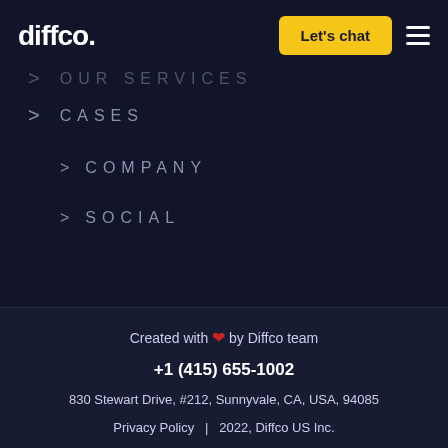diffco. | Let's chat | menu
> OUR SERVICES (partially visible)
> CASES
> COMPANY
> SOCIAL
Created with ❤ by Diffco team
+1 (415) 655-1002
830 Stewart Drive, #212, Sunnyvale, CA, USA, 94085
Privacy Policy | 2022, Diffco US Inc.